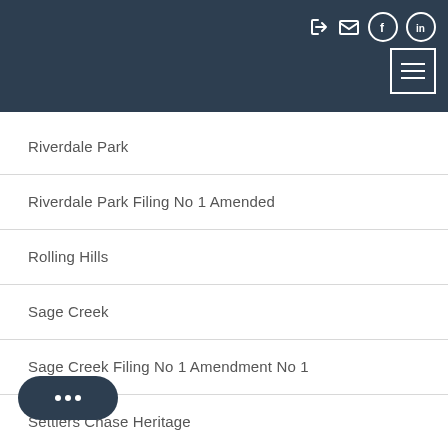Navigation header with social icons and hamburger menu
Riverdale Park
Riverdale Park Filing No 1 Amended
Rolling Hills
Sage Creek
Sage Creek Filing No 1 Amendment No 1
Settlers Chase Heritage
...se Heritage Condo